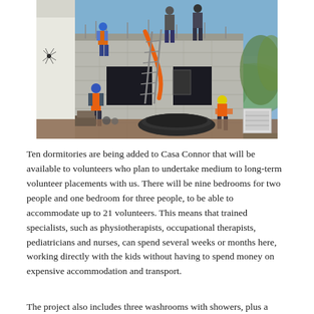[Figure (photo): Construction site photo showing workers on top of and around a concrete block building under construction. Workers wear orange safety vests and hard hats. A ladder leans against the wall, and construction materials including rolled mesh and an air conditioning unit are visible in the foreground. Blue sky and green hills are visible in the background.]
Ten dormitories are being added to Casa Connor that will be available to volunteers who plan to undertake medium to long-term volunteer placements with us. There will be nine bedrooms for two people and one bedroom for three people, to be able to accommodate up to 21 volunteers. This means that trained specialists, such as physiotherapists, occupational therapists, pediatricians and nurses, can spend several weeks or months here, working directly with the kids without having to spend money on expensive accommodation and transport.
The project also includes three washrooms with showers, plus a